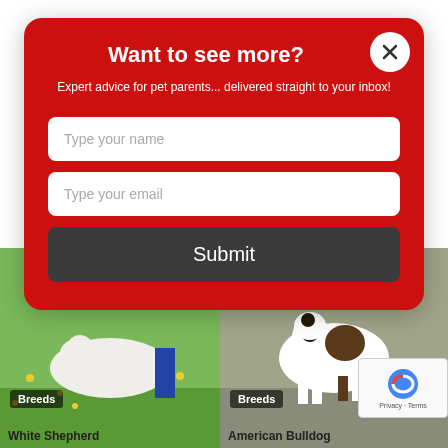[Figure (screenshot): A modal popup dialog on a website with red background asking 'Want to see more?' with fields for name and email and a Submit button, overlaid on a webpage showing dog breed photos (White Shepherd and American Bulldog) below.]
Want to see more?
Expert advice for pet parents... delivered straight to your inbox!
Type your name
Type your email
Submit
Breeds
Breeds
White Shepherd
American Bulldog